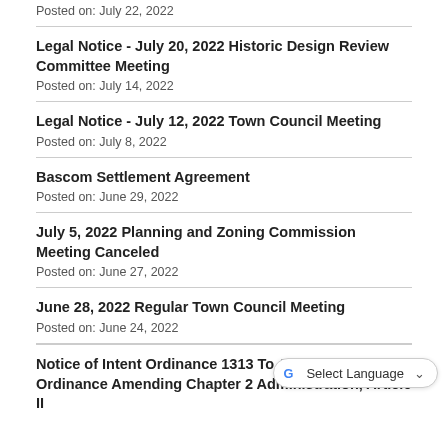Posted on: July 22, 2022
Legal Notice - July 20, 2022 Historic Design Review Committee Meeting
Posted on: July 14, 2022
Legal Notice - July 12, 2022 Town Council Meeting
Posted on: July 8, 2022
Bascom Settlement Agreement
Posted on: June 29, 2022
July 5, 2022 Planning and Zoning Commission Meeting Canceled
Posted on: June 27, 2022
June 28, 2022 Regular Town Council Meeting
Posted on: June 24, 2022
Notice of Intent Ordinance 1313 To Adopt an Ordinance Amending Chapter 2 Administration, Article II